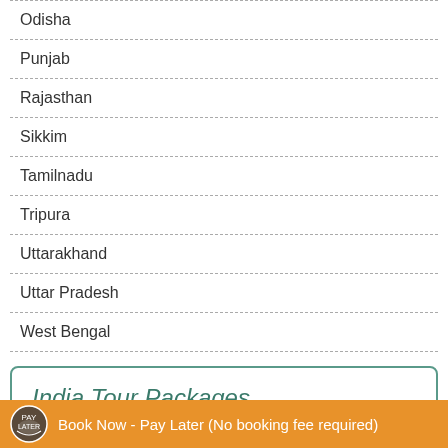Odisha
Punjab
Rajasthan
Sikkim
Tamilnadu
Tripura
Uttarakhand
Uttar Pradesh
West Bengal
India Tour Packages
North India Tours
Book Now - Pay Later (No booking fee required)